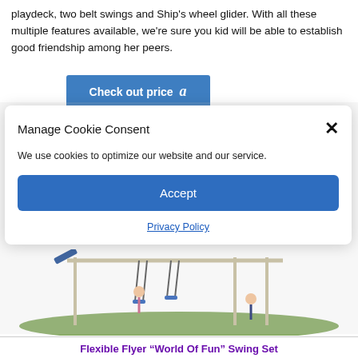playdeck, two belt swings and Ship's wheel glider. With all these multiple features available, we're sure you kid will be able to establish good friendship among her peers.
[Figure (screenshot): Blue 'Check out price' button with Amazon logo]
[Figure (screenshot): Cookie consent modal dialog with title 'Manage Cookie Consent', close X button, text 'We use cookies to optimize our website and our service.', an Accept button, and a Privacy Policy link]
[Figure (photo): Children playing on a swing set / playground equipment on grass]
Flexible Flyer “World Of Fun” Swing Set